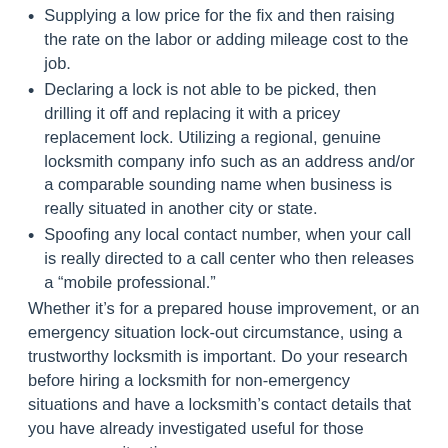Supplying a low price for the fix and then raising the rate on the labor or adding mileage cost to the job.
Declaring a lock is not able to be picked, then drilling it off and replacing it with a pricey replacement lock. Utilizing a regional, genuine locksmith company info such as an address and/or a comparable sounding name when business is really situated in another city or state.
Spoofing any local contact number, when your call is really directed to a call center who then releases a “mobile professional.”
Whether it’s for a prepared house improvement, or an emergency situation lock-out circumstance, using a trustworthy locksmith is important. Do your research before hiring a locksmith for non-emergency situations and have a locksmith’s contact details that you have already investigated useful for those emergency situations.